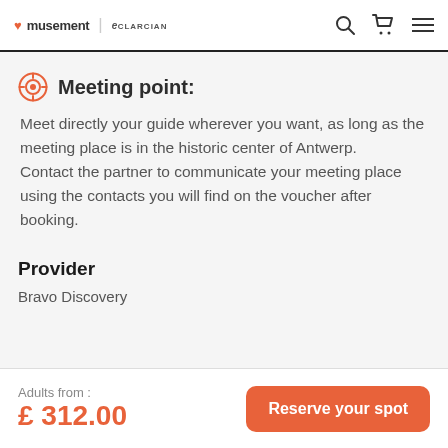musement | eCLARCIAN
Meeting point:
Meet directly your guide wherever you want, as long as the meeting place is in the historic center of Antwerp.
Contact the partner to communicate your meeting place using the contacts you will find on the voucher after booking.
Provider
Bravo Discovery
Adults from : £ 312.00   Reserve your spot